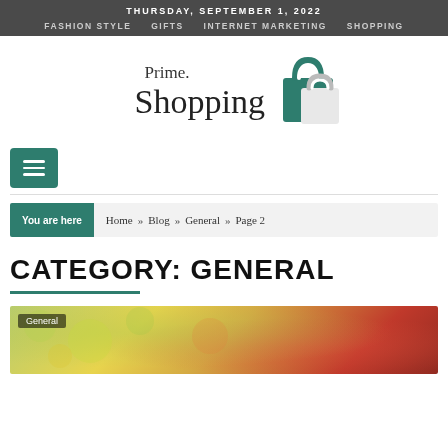THURSDAY, SEPTEMBER 1, 2022
FASHION STYLE   GIFTS   INTERNET MARKETING   SHOPPING
[Figure (logo): Prime.Shopping logo with teal shopping bag icon]
[Figure (other): Hamburger menu button (three horizontal lines on teal background)]
You are here  Home » Blog » General » Page 2
CATEGORY: GENERAL
[Figure (photo): Blurred bokeh photo with green and red tones, showing a hand. Tag reads 'General'.]